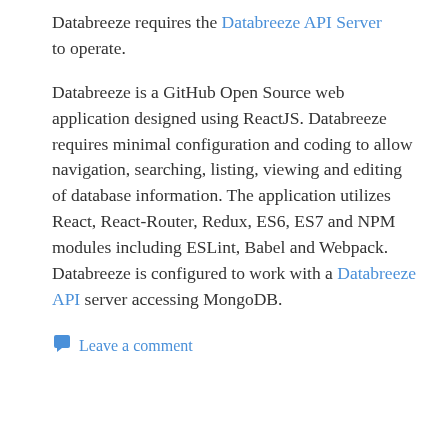Databreeze requires the Databreeze API Server to operate.
Databreeze is a GitHub Open Source web application designed using ReactJS. Databreeze requires minimal configuration and coding to allow navigation, searching, listing, viewing and editing of database information. The application utilizes React, React-Router, Redux, ES6, ES7 and NPM modules including ESLint, Babel and Webpack. Databreeze is configured to work with a Databreeze API server accessing MongoDB.
Leave a comment